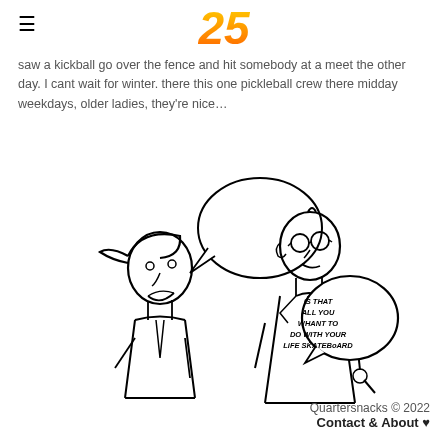25
saw a kickball go over the fence and hit somebody at a meet the other day. I cant wait for winter. there this one pickleball crew there midday weekdays, older ladies, they're nice…
[Figure (illustration): Hand-drawn cartoon showing a young person with a backwards cap talking to an older man in a suit and glasses. The man has a speech bubble saying 'IS THAT ALL YOU WHANT TO DO WITH YOUR LIFE SKATEBOARD']
Quartersnacks © 2022
Contact & About ♥